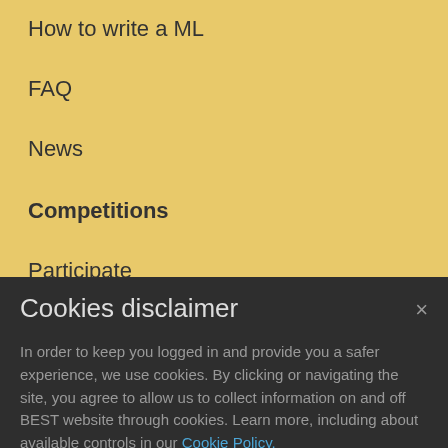How to write a ML
FAQ
News
Competitions
Participate
EBEC Website
News
Career
Companies & Universities
Cookies disclaimer
In order to keep you logged in and provide you a safer experience, we use cookies. By clicking or navigating the site, you agree to allow us to collect information on and off BEST website through cookies. Learn more, including about available controls in our Cookie Policy.